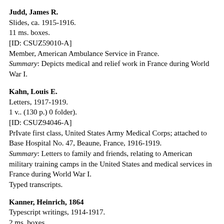Judd, James R.
Slides, ca. 1915-1916.
11 ms. boxes.
[ID: CSUZ59010-A]
Member, American Ambulance Service in France.
Summary: Depicts medical and relief work in France during World War I.
Kahn, Louis E.
Letters, 1917-1919.
1 v.. (130 p.) 0 folder).
[ID: CSUZ94046-A]
PrIvate first class, United States Army Medical Corps; attached to Base Hospital No. 47, Beaune, France, 1916-1919.
Summary: Letters to family and friends, relating to American military training camps in the United States and medical services in France during World War I.
Typed transcripts.
Kanner, Heinrich, 1864
Typescript writings, 1914-1917.
2 ms. boxes.
[ID: CSUZ25001-A]
Austrian journalist; editor, Die Zeit (Vienne).
Summary: Relates to political conditions and public opinion in